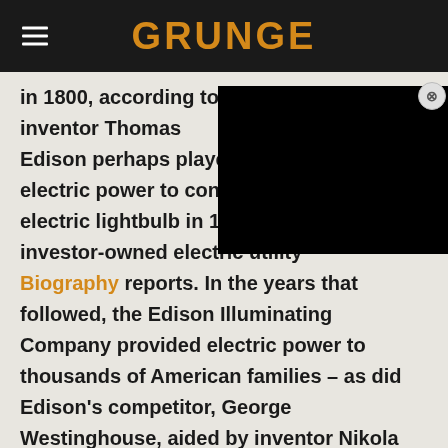GRUNGE
in 1800, according to Vox. But American inventor Thomas Edison perhaps played the biggest role in bringing electric power to consumers; after inventing the electric lightbulb in 1879, Edison founded the first investor-owned electric utility Biography reports. In the years that followed, the Edison Illuminating Company provided electric power to thousands of American families – as did Edison's competitor, George Westinghouse, aided by inventor Nikola Tesla. By 1925, per Mr. Electric, half of all American homes had electric power, and by 1945, the number had risen to 85%.